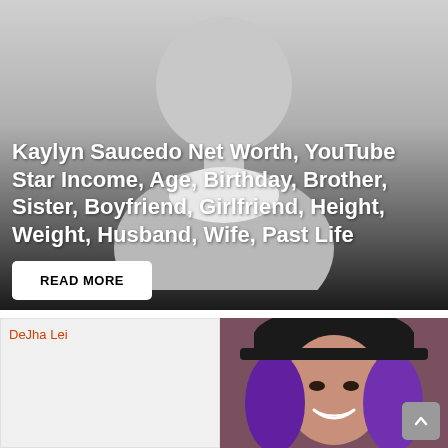[Figure (photo): Gray silhouette placeholder person image with dark gradient overlay at bottom, used as background for article card about Kaylyn Saucedo]
Kaylyn Saucedo Net Worth, YouTube Star Income, Age, Birthday, Brother, Sister, Boyfriend, Girlfriend, Height, Weight, Husband, Wife, Past Life
READ MORE
[Figure (photo): Broken image placeholder labeled 'DeJha Lei' in orange text on light gray background]
[Figure (photo): Photo of a woman with purple hair and black hat, smiling]